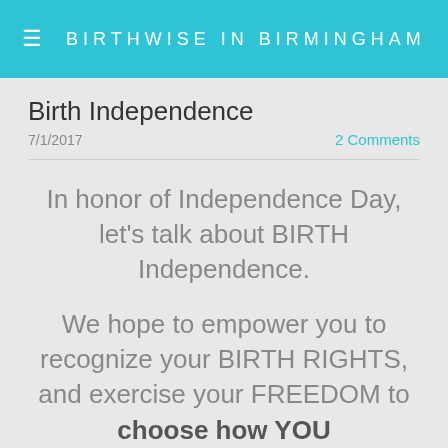≡  BIRTHWISE IN BIRMINGHAM
Birth Independence
7/1/2017
2 Comments
In honor of Independence Day, let's talk about BIRTH Independence.
We hope to empower you to recognize your BIRTH RIGHTS, and exercise your FREEDOM to choose how YOU